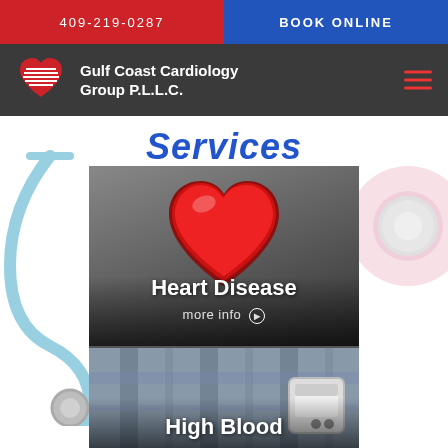409-219-0287
BOOK ONLINE
Gulf Coast Cardiology Group P.L.L.C.
Services
[Figure (photo): Card showing a red heart model on a stethoscope with text 'Heart Disease' and 'more info' link]
[Figure (photo): Card showing a person wearing a blood pressure monitor with text 'High Blood']